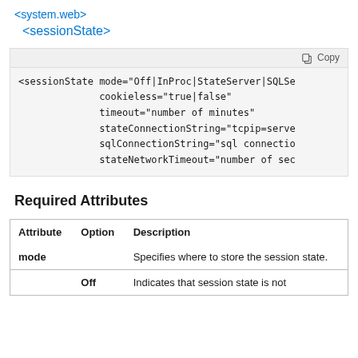<system.web>
<sessionState>
[Figure (screenshot): Code block showing sessionState XML element with attributes: mode, cookieless, timeout, stateConnectionString, sqlConnectionString, stateNetworkTimeout. Has a Copy button in the toolbar.]
Required Attributes
| Attribute | Option | Description |
| --- | --- | --- |
| mode |  | Specifies where to store the session state. |
|  | Off | Indicates that session state is not |